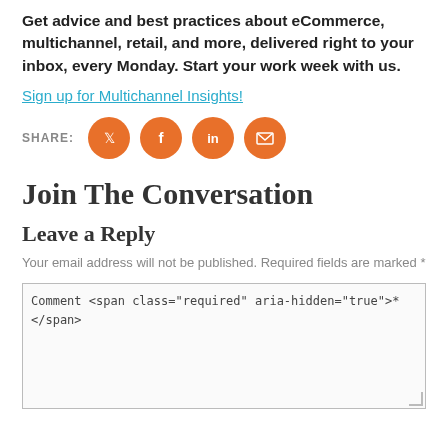Get advice and best practices about eCommerce, multichannel, retail, and more, delivered right to your inbox, every Monday. Start your work week with us.
Sign up for Multichannel Insights!
[Figure (infographic): SHARE: row of four orange circular social media icons — Twitter, Facebook, LinkedIn, Email]
Join The Conversation
Leave a Reply
Your email address will not be published. Required fields are marked *
Comment <span class="required" aria-hidden="true">*</span>